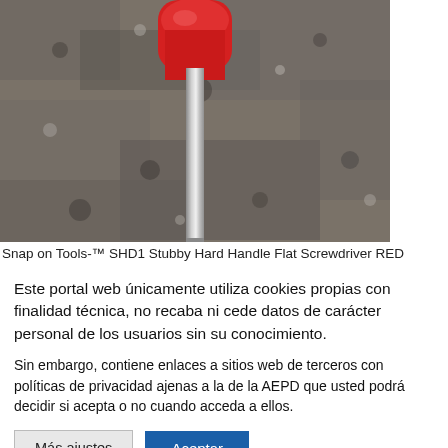[Figure (photo): Photo of a Snap-on Tools SHD1 Stubby Hard Handle Flat Screwdriver with red handle on granite surface]
Snap on Tools-™ SHD1 Stubby Hard Handle Flat Screwdriver RED
Este portal web únicamente utiliza cookies propias con finalidad técnica, no recaba ni cede datos de carácter personal de los usuarios sin su conocimiento.
Sin embargo, contiene enlaces a sitios web de terceros con políticas de privacidad ajenas a la de la AEPD que usted podrá decidir si acepta o no cuando acceda a ellos.
Más ajustes | Aceptar